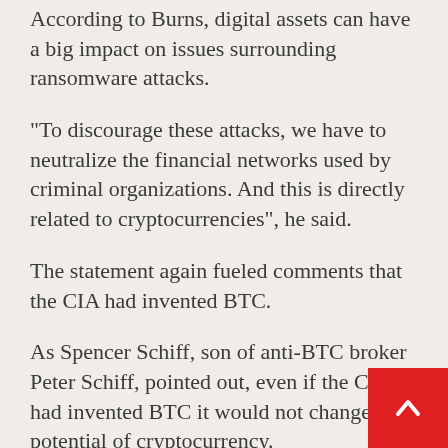According to Burns, digital assets can have a big impact on issues surrounding ransomware attacks.
“To discourage these attacks, we have to neutralize the financial networks used by criminal organizations. And this is directly related to cryptocurrencies”, he said.
The statement again fueled comments that the CIA had invented BTC.
As Spencer Schiff, son of anti-BTC broker Peter Schiff, pointed out, even if the CIA had invented BTC it would not change the potential of cryptocurrency.
“If it turns out that the CIA invented BTC, it wouldn’t diminish my bullish attitude. The only thing I would change is my opinion of Satoshi. But Satoshi is not BTC. That connection was severed